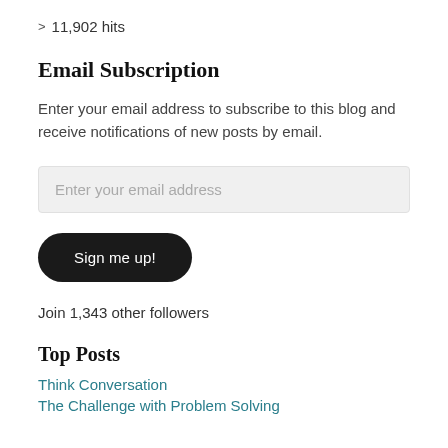> 11,902 hits
Email Subscription
Enter your email address to subscribe to this blog and receive notifications of new posts by email.
Enter your email address
Sign me up!
Join 1,343 other followers
Top Posts
Think Conversation
The Challenge with Problem Solving